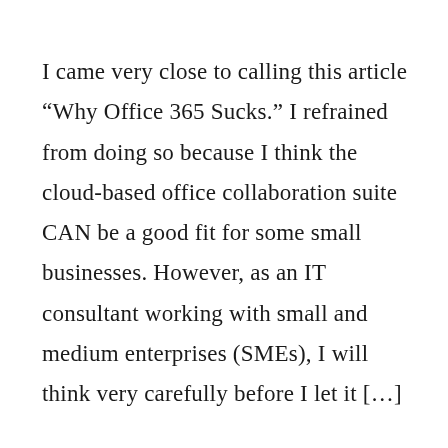I came very close to calling this article “Why Office 365 Sucks.” I refrained from doing so because I think the cloud-based office collaboration suite CAN be a good fit for some small businesses. However, as an IT consultant working with small and medium enterprises (SMEs), I will think very carefully before I let it […]